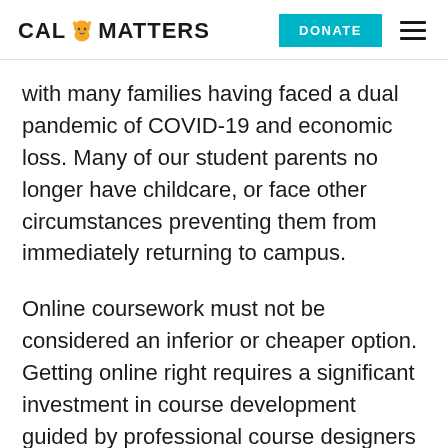CAL MATTERS | DONATE
with many families having faced a dual pandemic of COVID-19 and economic loss. Many of our student parents no longer have childcare, or face other circumstances preventing them from immediately returning to campus.
Online coursework must not be considered an inferior or cheaper option. Getting online right requires a significant investment in course development guided by professional course designers who focus on achieving and assessing learning outcomes. Best practices show that developing a quality online course takes about